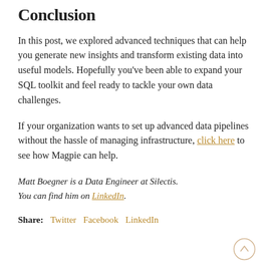Conclusion
In this post, we explored advanced techniques that can help you generate new insights and transform existing data into useful models. Hopefully you've been able to expand your SQL toolkit and feel ready to tackle your own data challenges.
If your organization wants to set up advanced data pipelines without the hassle of managing infrastructure, click here to see how Magpie can help.
Matt Boegner is a Data Engineer at Silectis. You can find him on LinkedIn.
Share: Twitter Facebook LinkedIn